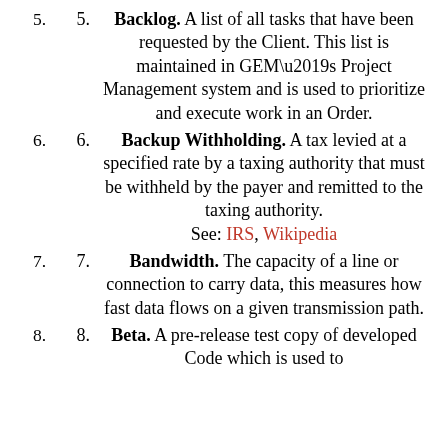5. Backlog. A list of all tasks that have been requested by the Client. This list is maintained in GEM’s Project Management system and is used to prioritize and execute work in an Order.
6. Backup Withholding. A tax levied at a specified rate by a taxing authority that must be withheld by the payer and remitted to the taxing authority. See: IRS, Wikipedia
7. Bandwidth. The capacity of a line or connection to carry data, this measures how fast data flows on a given transmission path.
8. Beta. A pre-release test copy of developed Code which is used to